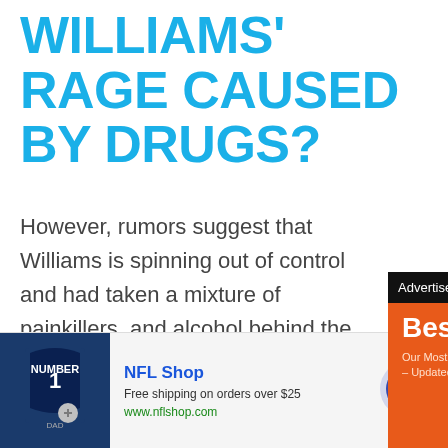WILLIAMS' RAGE CAUSED BY DRUGS?
However, rumors suggest that Williams is spinning out of control and had taken a mixture of painkillers, and alcohol behind the reunion.
[Figure (infographic): AliExpress advertisement popup with orange background showing 'BestSelling - Our Most Popular Products - Updated Weekly!' with shopping cart graphic and 'Shop Now' button]
[Figure (infographic): NFL Shop advertisement banner showing Dallas Cowboys jersey, text 'NFL Shop - Free shipping on orders over $25 - www.nflshop.com' with navigation arrow]